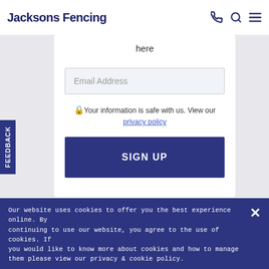Jacksons Fencing
here
Email Address
🔒Your information is safe with us. View our privacy policy
SIGN UP
Feedback
Our website uses cookies to offer you the best experience online. By continuing to use our website, you agree to the use of cookies. If you would like to know more about cookies and how to manage them please view our privacy & cookie policy.